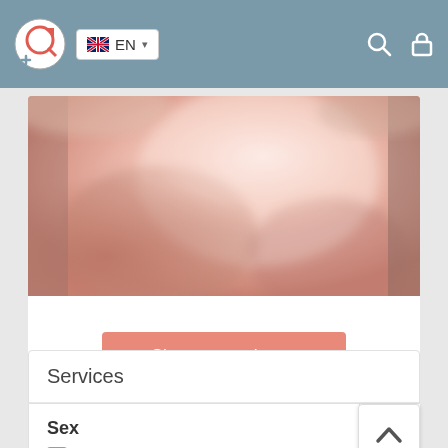EN language selector header with search and lock icons
[Figure (photo): Close-up blurred photograph of a person's chest/torso area with pink tones]
Show more photos
Services
Sex
Classic sex